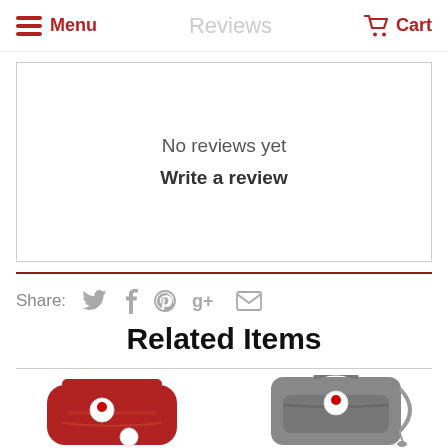Menu   Reviews   Cart
No reviews yet
Write a review
Share:
Related Items
[Figure (photo): Red backpack with white circular logo badge and white pom-pom charm]
[Figure (photo): Grey crossbody/backpack bag with white circular logo badge and tassel charm]